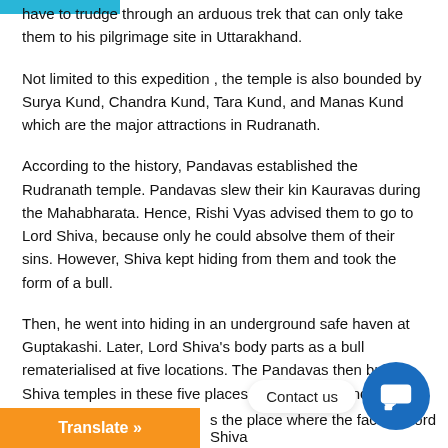have to trudge through an arduous trek that can only take them to his pilgrimage site in Uttarakhand.
Not limited to this expedition , the temple is also bounded by Surya Kund, Chandra Kund, Tara Kund, and Manas Kund which are the major attractions in Rudranath.
According to the history, Pandavas established the Rudranath temple. Pandavas slew their kin Kauravas during the Mahabharata. Hence, Rishi Vyas advised them to go to Lord Shiva, because only he could absolve them of their sins. However, Shiva kept hiding from them and took the form of a bull.
Then, he went into hiding in an underground safe haven at Guptakashi. Later, Lord Shiva’s body parts as a bull rematerialised at five locations. The Pandavas then built Shiva temples in these five places, popular as ‘Panch Kedar’
s the place where the face of Lord Shiva